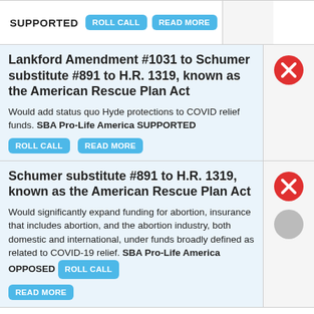SUPPORTED
Lankford Amendment #1031 to Schumer substitute #891 to H.R. 1319, known as the American Rescue Plan Act
Would add status quo Hyde protections to COVID relief funds. SBA Pro-Life America SUPPORTED
Schumer substitute #891 to H.R. 1319, known as the American Rescue Plan Act
Would significantly expand funding for abortion, insurance that includes abortion, and the abortion industry, both domestic and international, under funds broadly defined as related to COVID-19 relief. SBA Pro-Life America OPPOSED